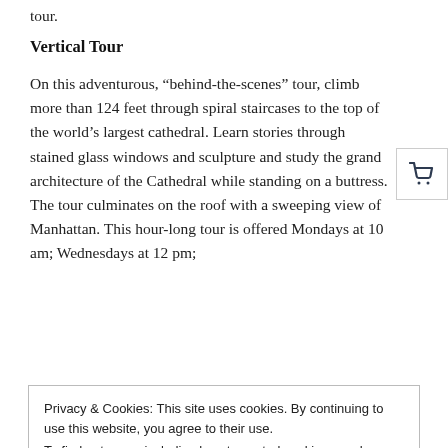tour.
Vertical Tour
On this adventurous, “behind-the-scenes” tour, climb more than 124 feet through spiral staircases to the top of the world’s largest cathedral. Learn stories through stained glass windows and sculpture and study the grand architecture of the Cathedral while standing on a buttress. The tour culminates on the roof with a sweeping view of Manhattan. This hour-long tour is offered Mondays at 10 am; Wednesdays at 12 pm;
Privacy & Cookies: This site uses cookies. By continuing to use this website, you agree to their use.
To find out more, including how to control cookies, see here: Cookie Policy
Spotlight Tour
Spotlight Tours are specially created by Cathedral